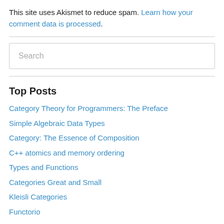This site uses Akismet to reduce spam. Learn how your comment data is processed.
Search
Top Posts
Category Theory for Programmers: The Preface
Simple Algebraic Data Types
Category: The Essence of Composition
C++ atomics and memory ordering
Types and Functions
Categories Great and Small
Kleisli Categories
Functorio